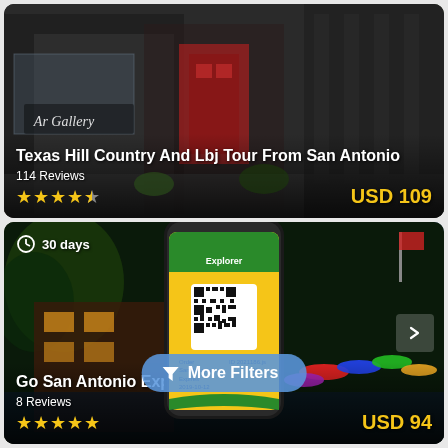[Figure (photo): Photo of a street scene with storefronts including a red door and an art gallery, showing Texas Hill Country tour listing card with title, reviews, star rating, and price]
Texas Hill Country And Lbj Tour From San Antonio
114 Reviews
USD 109
[Figure (screenshot): Photo of San Antonio River Walk at night with colorful umbrellas, overlaid with a phone showing a Go San Antonio Explorer Pass app with QR code]
30 days
Go San Antonio Expl...
8 Reviews
USD 94
More Filters